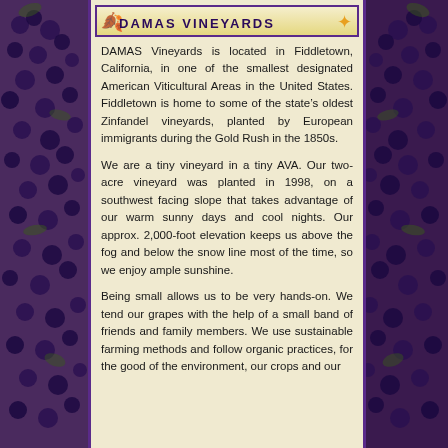[Figure (logo): DAMAS VINEYARDS logo banner with decorative leaf/grape motifs and purple border]
DAMAS Vineyards is located in Fiddletown, California, in one of the smallest designated American Viticultural Areas in the United States. Fiddletown is home to some of the state's oldest Zinfandel vineyards, planted by European immigrants during the Gold Rush in the 1850s.
We are a tiny vineyard in a tiny AVA. Our two-acre vineyard was planted in 1998, on a southwest facing slope that takes advantage of our warm sunny days and cool nights. Our approx. 2,000-foot elevation keeps us above the fog and below the snow line most of the time, so we enjoy ample sunshine.
Being small allows us to be very hands-on. We tend our grapes with the help of a small band of friends and family members. We use sustainable farming methods and follow organic practices, for the good of the environment, our crops and our